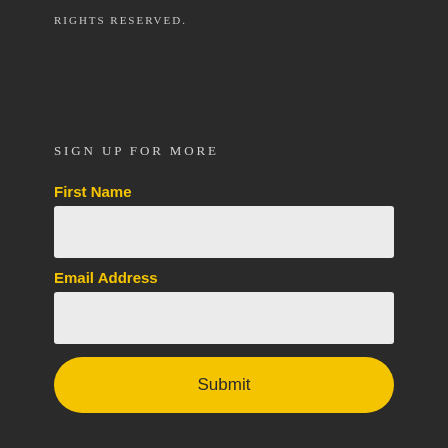RIGHTS RESERVED.
SIGN UP FOR MORE
First Name
[Figure (other): Empty text input field for First Name]
Email Address
[Figure (other): Empty text input field for Email Address]
[Figure (other): Yellow Submit button with rounded corners]